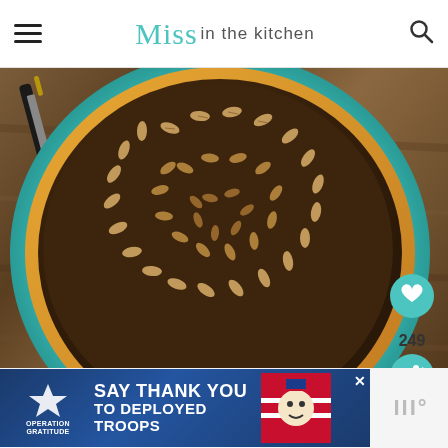Miss in the kitchen
[Figure (photo): Overhead view of a pecan pie in a teal pie dish on a red checkered cloth and wooden table, with a knife visible at top left. Social share overlay with heart icon (249 saves) and share button visible on right side.]
WHAT'S NEXT → Pumpkin Pie Spice
[Figure (photo): Advertisement banner: Operation Gratitude - SAY THANK YOU TO DEPLOYED TROOPS, with patriotic imagery]